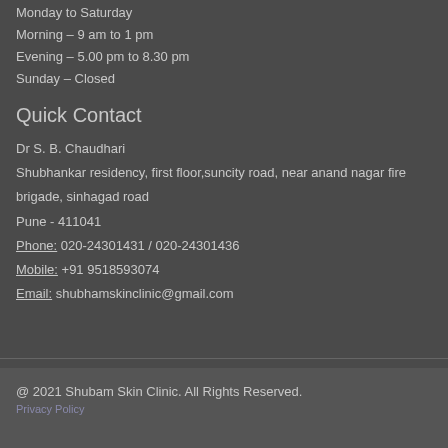Monday to Saturday
Morning – 9 am to 1 pm
Evening – 5.00 pm to 8.30 pm
Sunday – Closed
Quick Contact
Dr S. B. Chaudhari
Shubhankar residency, first floor,suncity road, near anand nagar fire brigade, sinhagad road
Pune - 411041
Phone: 020-24301431 / 020-24301436
Mobile: +91 9518593074
Email: shubhamskinclinic@gmail.com
@ 2021 Shubam Skin Clinic. All Rights Reserved.